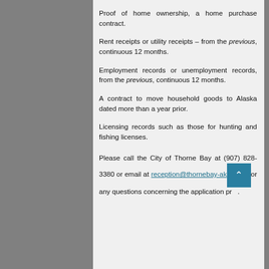Proof of home ownership, a home purchase contract.
Rent receipts or utility receipts – from the previous, continuous 12 months.
Employment records or unemployment records, from the previous, continuous 12 months.
A contract to move household goods to Alaska dated more than a year prior.
Licensing records such as those for hunting and fishing licenses.
Please call the City of Thorne Bay at (907) 828-3380 or email at reception@thornebay-ak... for any questions concerning the application pr....